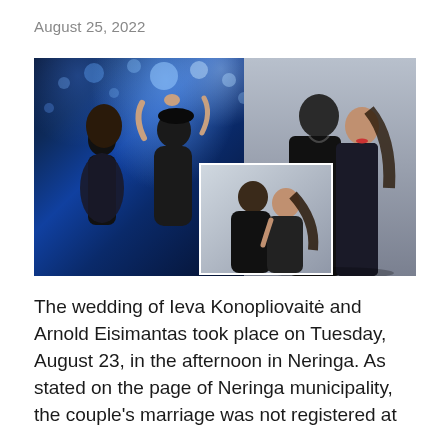August 25, 2022
[Figure (photo): Collage of three photos: left — a couple dancing on stage with blue bokeh stage lights, wearing black outfits; center inset — a couple in an outdoor setting, man holding woman; right — a formal portrait of a couple in black attire against a grey background.]
The wedding of Ieva Konopliovaitė and Arnold Eisimantas took place on Tuesday, August 23, in the afternoon in Neringa. As stated on the page of Neringa municipality, the couple's marriage was not registered at